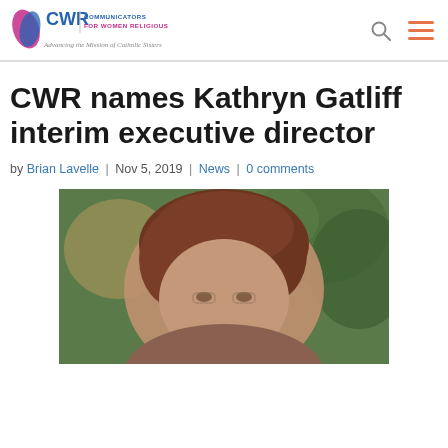[Figure (logo): CWR (Communicators for Women Religious) logo with tagline 'Advancing the Mission of Catholic Sisters']
CWR names Kathryn Gatliff interim executive director
by Brian Lavelle | Nov 5, 2019 | News | 0 comments
[Figure (photo): Photo of Kathryn Gatliff, a woman with curly reddish-brown hair, partially visible, with green foliage in background]